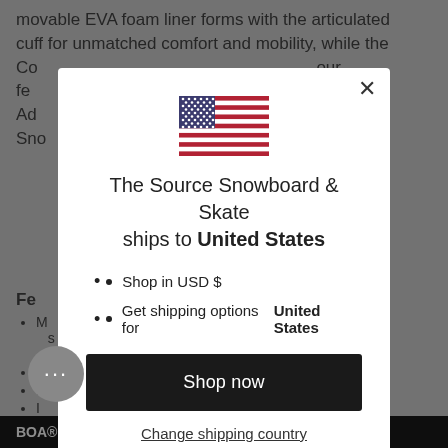movable EVA foam liner forms with the articulated cuff for unmatched comfort and mobility, while the Co... your fe... Ad... Sno...
Fe...
M... a s... ve f...
S...
D...
I...
L...
BOA® Fit System and Coiler BOA® Fit System
[Figure (other): US flag icon shown in modal dialog]
The Source Snowboard & Skate ships to United States
Shop in USD $
Get shipping options for United States
Shop now
Change shipping country